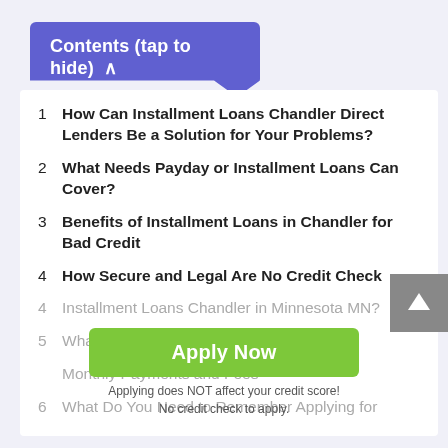Contents (tap to hide) ^
1  How Can Installment Loans Chandler Direct Lenders Be a Solution for Your Problems?
2  What Needs Payday or Installment Loans Can Cover?
3  Benefits of Installment Loans in Chandler for Bad Credit
4  How Secure and Legal Are No Credit Check Installment Loans Chandler in Minnesota MN?
5  What Do You Need to Ask a Lender About Monthly Payments and Fees
6  What Do You Need to Remember Applying for
[Figure (other): Green Apply Now button overlay with text 'Applying does NOT affect your credit score! No credit check to apply.']